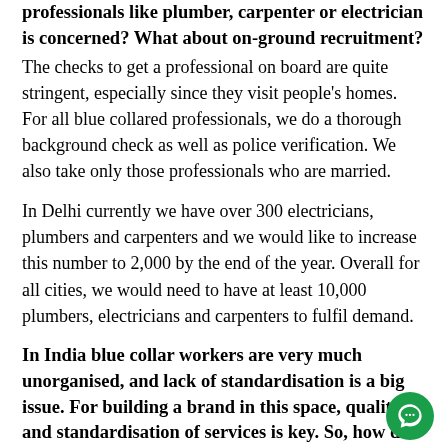professionals like plumber, carpenter or electrician is concerned? What about on-ground recruitment?
The checks to get a professional on board are quite stringent, especially since they visit people's homes. For all blue collared professionals, we do a thorough background check as well as police verification. We also take only those professionals who are married.
In Delhi currently we have over 300 electricians, plumbers and carpenters and we would like to increase this number to 2,000 by the end of the year. Overall for all cities, we would need to have at least 10,000 plumbers, electricians and carpenters to fulfil demand.
In India blue collar workers are very much unorganised, and lack of standardisation is a big issue. For building a brand in this space, quality and standardisation of services is key. So, how do you ensure quality and standardisation?
We have started with standardisation of rates in PEC